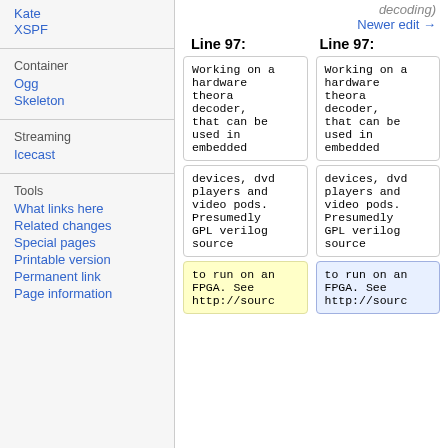Kate
XSPF
Container
Ogg
Skeleton
Streaming
Icecast
Tools
What links here
Related changes
Special pages
Printable version
Permanent link
Page information
decoding)
Newer edit →
Line 97:
Line 97:
Working on a hardware theora decoder, that can be used in embedded
Working on a hardware theora decoder, that can be used in embedded
devices, dvd players and video pods. Presumedly GPL verilog source
devices, dvd players and video pods. Presumedly GPL verilog source
to run on an FPGA. See http://sourc
to run on an FPGA. See http://sourc